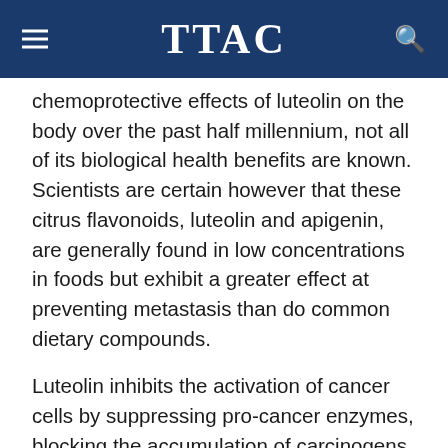TTAC
chemoprotective effects of luteolin on the body over the past half millennium, not all of its biological health benefits are known. Scientists are certain however that these citrus flavonoids, luteolin and apigenin, are generally found in low concentrations in foods but exhibit a greater effect at preventing metastasis than do common dietary compounds.
Luteolin inhibits the activation of cancer cells by suppressing pro-cancer enzymes, blocking the accumulation of carcinogens in new tissue and supporting the elimination of toxic agents. Consequently, luteolin is an effective dietary antioxidant that produces an anti-proliferative and